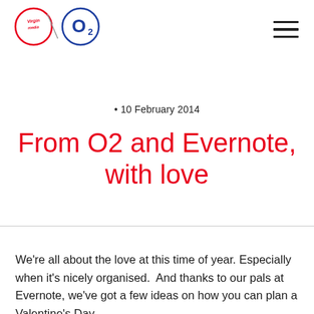[Figure (logo): Virgin Media O2 combined logo — red Virgin media cursive logo on left with red circle, blue O2 logo on right with blue circle, connected by a backslash divider]
• 10 February 2014
From O2 and Evernote, with love
We're all about the love at this time of year. Especially when it's nicely organised.  And thanks to our pals at Evernote, we've got a few ideas on how you can plan a Valentine's Day